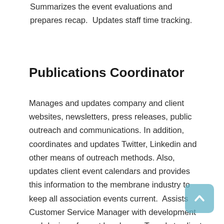Summarizes the event evaluations and prepares recap.  Updates staff time tracking.
Publications Coordinator
Manages and updates company and client websites, newsletters, press releases, public outreach and communications. In addition, coordinates and updates Twitter, Linkedin and other means of outreach methods. Also, updates client event calendars and provides this information to the membrane industry to keep all association events current.  Assists Customer Service Manager with development and design of event brochures. Travels to client events, helps with the coordination of on-site registration,